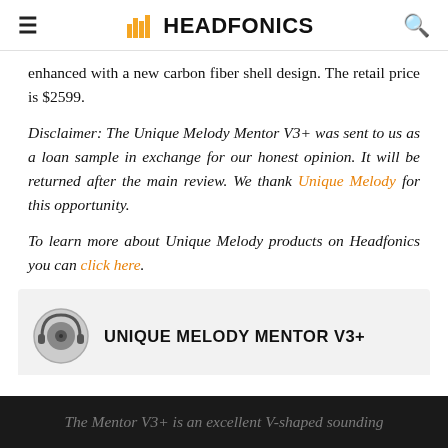HEADFONICS
enhanced with a new carbon fiber shell design. The retail price is $2599.
Disclaimer: The Unique Melody Mentor V3+ was sent to us as a loan sample in exchange for our honest opinion. It will be returned after the main review. We thank Unique Melody for this opportunity.
To learn more about Unique Melody products on Headfonics you can click here.
UNIQUE MELODY MENTOR V3+
The Mentor V3+ is an excellent V-shaped sounding